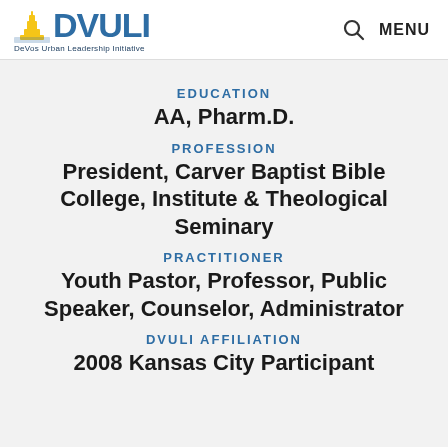DVULI — DeVos Urban Leadership Initiative | MENU
EDUCATION
AA, Pharm.D.
PROFESSION
President, Carver Baptist Bible College, Institute & Theological Seminary
PRACTITIONER
Youth Pastor, Professor, Public Speaker, Counselor, Administrator
DVULI AFFILIATION
2008 Kansas City Participant